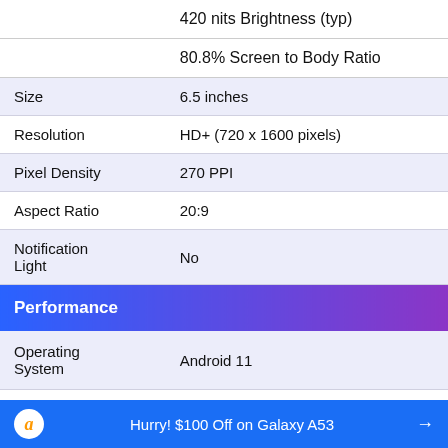| Feature | Value |
| --- | --- |
|  | 420 nits Brightness (typ) |
|  | 80.8% Screen to Body Ratio |
| Size | 6.5 inches |
| Resolution | HD+ (720 x 1600 pixels) |
| Pixel Density | 270 PPI |
| Aspect Ratio | 20:9 |
| Notification Light | No |
| Performance |  |
| Operating System | Android 11 |
Hurry! $100 Off on Galaxy A53